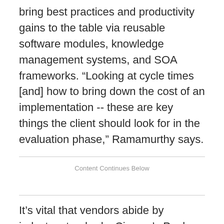bring best practices and productivity gains to the table via reusable software modules, knowledge management systems, and SOA frameworks. “Looking at cycle times [and] how to bring down the cost of an implementation -- these are key things the client should look for in the evaluation phase,” Ramamurthy says.
Content Continues Below
It’s vital that vendors abide by industry standards, Cincom’s Paul says. High levels of IT process experience and certifications and frameworks such as CMMI, ISO, and Six Sigma